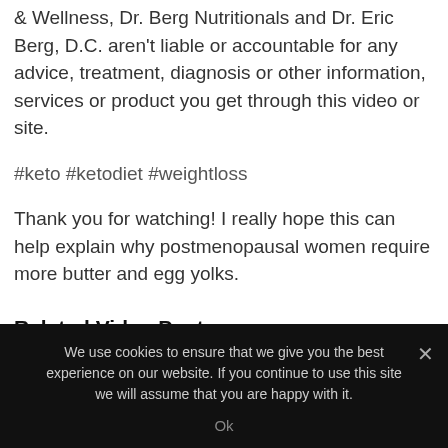& Wellness, Dr. Berg Nutritionals and Dr. Eric Berg, D.C. aren't liable or accountable for any advice, treatment, diagnosis or other information, services or product you get through this video or site.
#keto #ketodiet #weightloss
Thank you for watching! I really hope this can help explain why postmenopausal women require more butter and egg yolks.
Related Video Posts
We use cookies to ensure that we give you the best experience on our website. If you continue to use this site we will assume that you are happy with it.